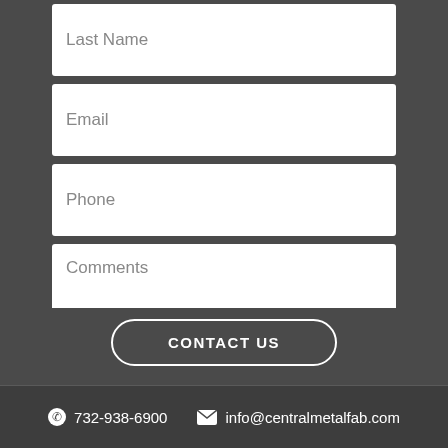Last Name
Email
Phone
Comments
CONTACT US
732-938-6900   info@centralmetalfab.com